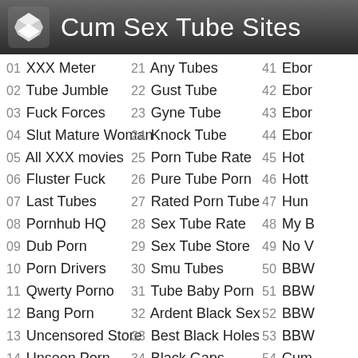Cum Sex Tube Sites
01 XXX Meter
02 Tube Jumble
03 Fuck Forces
04 Slut Mature Woman
05 All XXX movies
06 Fluster Fuck
07 Last Tubes
08 Pornhub HQ
09 Dub Porn
10 Porn Drivers
11 Qwerty Porno
12 Bang Porn
13 Uncensored Store
14 Unseen Porn
15 Wild Porn Tubes
21 Any Tubes
22 Gust Tube
23 Gyne Tube
24 Knock Tube
25 Porn Tube Rate
26 Pure Tube Porn
27 Rated Porn Tube
28 Sex Tube Rate
29 Sex Tube Store
30 Smu Tubes
31 Tube Baby Porn
32 Ardent Black Sex
33 Best Black Holes
34 Black Gaps
35 Daily Ebony Clips
41 Ebony...
42 Ebony...
43 Ebony...
44 Ebony...
45 Hot...
46 Hotty...
47 Hun...
48 My B...
49 No V...
50 BBW...
51 BBW...
52 BBW...
53 BBW...
54 Cum...
55 Daily...